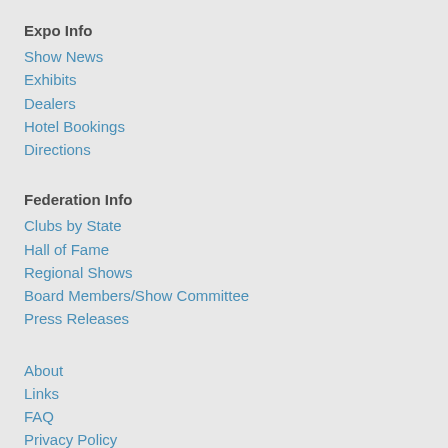Expo Info
Show News
Exhibits
Dealers
Hotel Bookings
Directions
Federation Info
Clubs by State
Hall of Fame
Regional Shows
Board Members/Show Committee
Press Releases
About
Links
FAQ
Privacy Policy